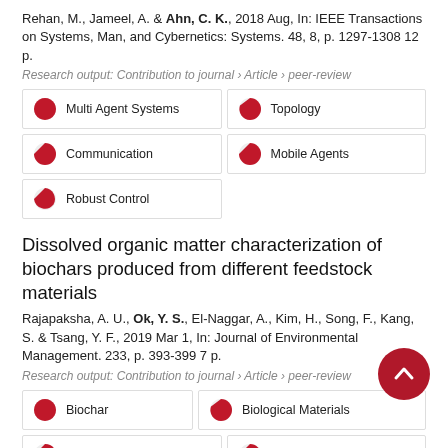Rehan, M., Jameel, A. & Ahn, C. K., 2018 Aug, In: IEEE Transactions on Systems, Man, and Cybernetics: Systems. 48, 8, p. 1297-1308 12 p.
Research output: Contribution to journal › Article › peer-review
[Figure (infographic): Keyword badges with pie chart indicators: Multi Agent Systems (100%), Topology (66%), Communication (44%), Mobile Agents (33%), Robust Control (22%)]
Dissolved organic matter characterization of biochars produced from different feedstock materials
Rajapaksha, A. U., Ok, Y. S., El-Naggar, A., Kim, H., Song, F., Kang, S. & Tsang, Y. F., 2019 Mar 1, In: Journal of Environmental Management. 233, p. 393-399 7 p.
Research output: Contribution to journal › Article › peer-review
[Figure (infographic): Keyword badges with pie chart indicators: Biochar (100%), Biological Materials (66%), Organic Matter (55%), Feedstocks (50%)]